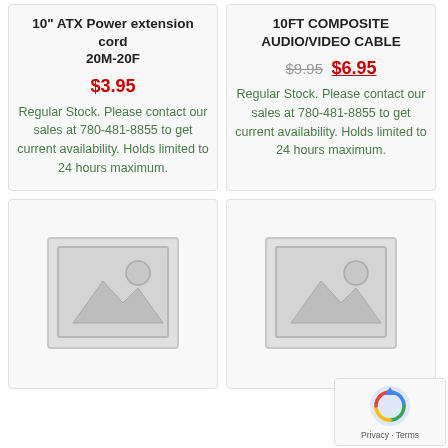10" ATX Power extension cord 20M-20F
$3.95
Regular Stock. Please contact our sales at 780-481-8855 to get current availability. Holds limited to 24 hours maximum.
10FT COMPOSITE AUDIO/VIDEO CABLE
$9.95 $6.95
Regular Stock. Please contact our sales at 780-481-8855 to get current availability. Holds limited to 24 hours maximum.
[Figure (photo): Placeholder product image - no image available icon]
[Figure (photo): Placeholder product image - no image available icon]